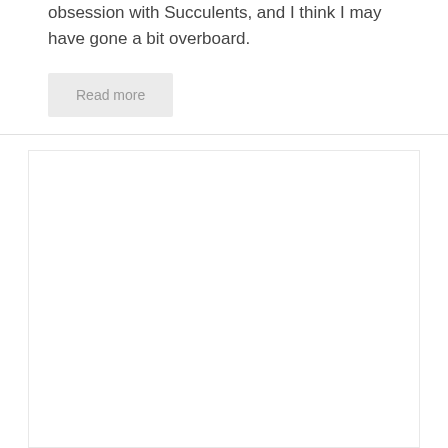obsession with Succulents, and I think I may have gone a bit overboard.
Read more
[Figure (other): Empty white card/article block with light border]